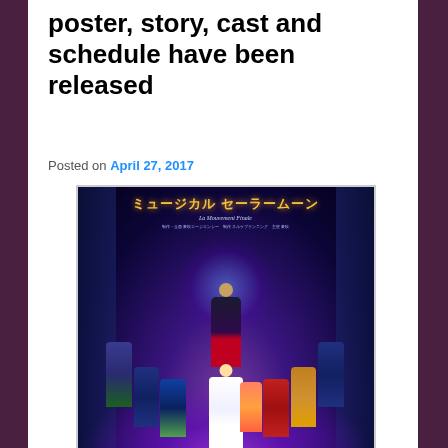poster, story, cast and schedule have been released
Posted on April 27, 2017
[Figure (photo): Theatrical promotional poster for a Sailor Moon musical (ミュージカル セーラームーン - La Mouvement Finale), showing cast members in costume on a purple-blue lit stage with columns. Characters include Sailor Moon in the front, a central male figure in a black suit and red cape (Tuxedo Mask), and multiple Sailor Senshi characters in their respective sailor uniforms arranged on steps.]